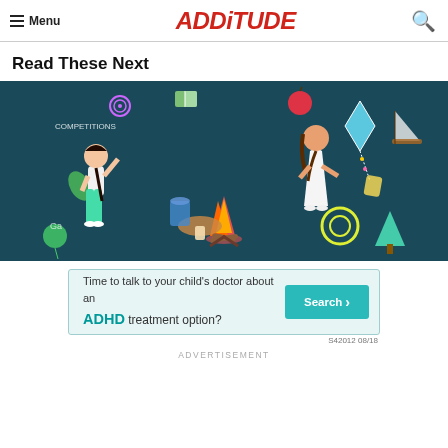≡ Menu   ADDITUDE   🔍
Read These Next
[Figure (photo): Two girls drawing on a large dark chalkboard wall filled with colorful chalk illustrations including a campfire, kite, book, and various doodles.]
[Figure (infographic): Advertisement banner: 'Time to talk to your child's doctor about an ADHD treatment option?' with a Search button and code S42012 08/18]
ADVERTISEMENT